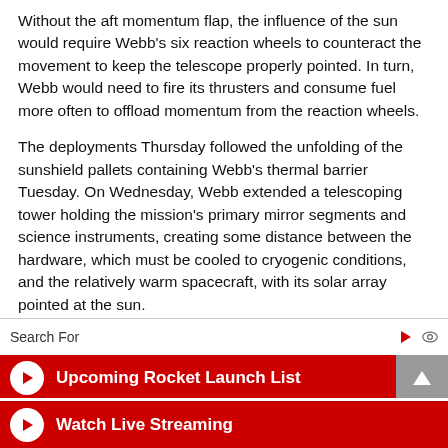Without the aft momentum flap, the influence of the sun would require Webb's six reaction wheels to counteract the movement to keep the telescope properly pointed. In turn, Webb would need to fire its thrusters and consume fuel more often to offload momentum from the reaction wheels.
The deployments Thursday followed the unfolding of the sunshield pallets containing Webb's thermal barrier Tuesday. On Wednesday, Webb extended a telescoping tower holding the mission's primary mirror segments and science instruments, creating some distance between the hardware, which must be cooled to cryogenic conditions, and the relatively warm spacecraft, with its solar array pointed at the sun.
That clears the way for critical work, set to begin Friday, to
Search For
Upcoming Rocket Launch List
Watch Live Streaming